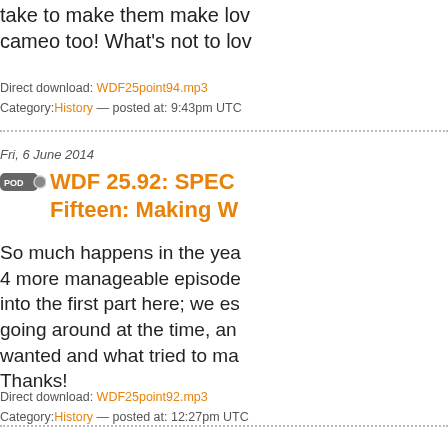take to make them make love, and Peter has a cameo too! What's not to lov
Direct download: WDF25point94.mp3
Category:History — posted at: 9:43pm UTC
Fri, 6 June 2014
WDF 25.92: SPEC... Fifteen: Making W...
So much happens in the yea... 4 more manageable episode... into the first part here; we es... going around at the time, an... wanted and what tried to ma... Thanks!
Direct download: WDF25point92.mp3
Category:History — posted at: 12:27pm UTC